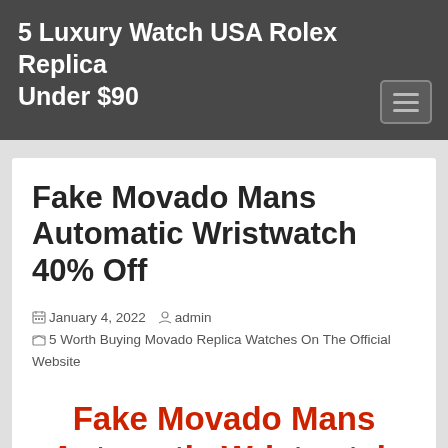5 Luxury Watch USA Rolex Replica Under $90
Fake Movado Mans Automatic Wristwatch 40% Off
January 4, 2022   admin   5 Worth Buying Movado Replica Watches On The Official Website
Fake Movado Mans Automatic Wristwatch